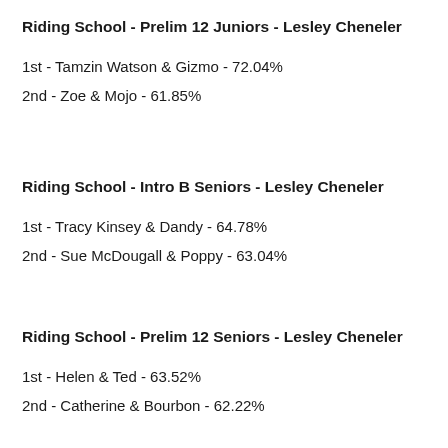Riding School - Prelim 12 Juniors - Lesley Cheneler
1st - Tamzin Watson & Gizmo - 72.04%
2nd - Zoe & Mojo - 61.85%
Riding School - Intro B Seniors - Lesley Cheneler
1st - Tracy Kinsey & Dandy - 64.78%
2nd - Sue McDougall & Poppy - 63.04%
Riding School - Prelim 12 Seniors - Lesley Cheneler
1st - Helen & Ted - 63.52%
2nd - Catherine & Bourbon - 62.22%